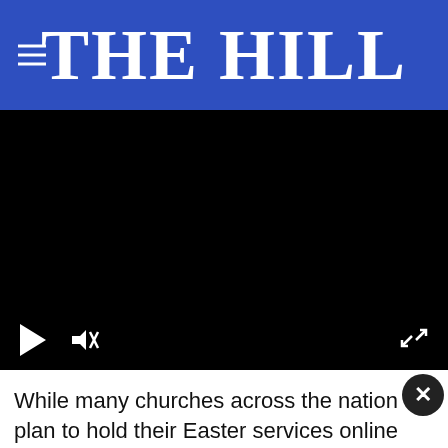THE HILL
[Figure (screenshot): Black video player with play button, mute button, and fullscreen button visible on a dark background]
While many churches across the nation plan to hold their Easter services online Sunday, a Louisiana congregation in Baton Rouge
[Figure (other): Advertisement overlay: THESHELTERPETPROJECT.ORG with AdChoices icons]